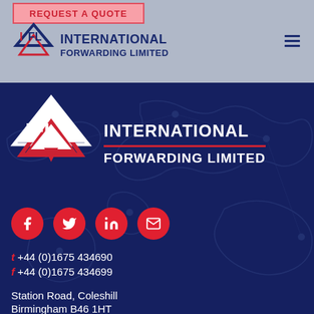[Figure (logo): IFL International Forwarding Limited logo in header with light blue-grey background and navigation hamburger menu]
[Figure (logo): Large IFL International Forwarding Limited logo on dark navy background with world map outline]
[Figure (infographic): Social media icons: Facebook, Twitter, LinkedIn, Email - red circles with white icons]
t +44 (0)1675 434690
f +44 (0)1675 434699
Station Road, Coleshill
Birmingham B46 1HT
EXPLORE